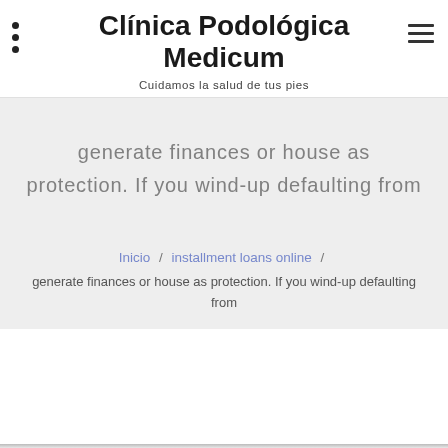Clínica Podológica Medicum
Cuidamos la salud de tus pies
generate finances or house as protection. If you wind-up defaulting from
Inicio / installment loans online / generate finances or house as protection. If you wind-up defaulting from